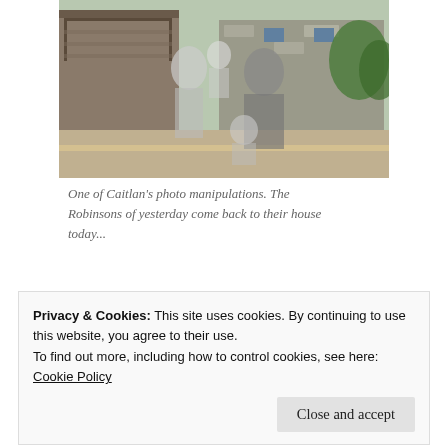[Figure (photo): A composite photo manipulation showing a historical black-and-white family portrait (man, woman, and child) superimposed over a modern color photograph of a house exterior with trees and a road.]
One of Caitlan's photo manipulations. The Robinsons of yesterday come back to their house today...
Share this:
Privacy & Cookies: This site uses cookies. By continuing to use this website, you agree to their use.
To find out more, including how to control cookies, see here: Cookie Policy
Close and accept